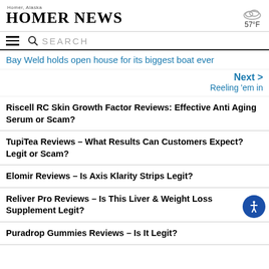Homer News — Homer, Alaska — 57°F
SEARCH
Bay Weld holds open house for its biggest boat ever
Next > Reeling 'em in
Riscell RC Skin Growth Factor Reviews: Effective Anti Aging Serum or Scam?
TupiTea Reviews – What Results Can Customers Expect? Legit or Scam?
Elomir Reviews – Is Axis Klarity Strips Legit?
Reliver Pro Reviews – Is This Liver & Weight Loss Supplement Legit?
Puradrop Gummies Reviews – Is It Legit?